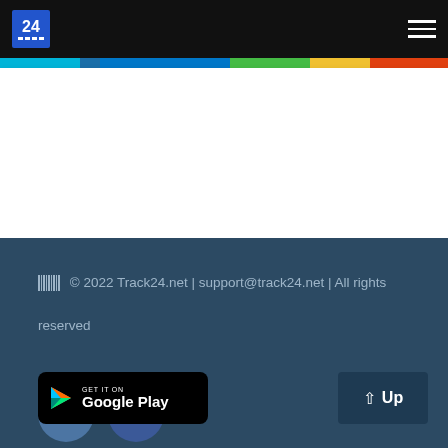[Figure (logo): Track24 logo - blue square with '24' text and barcode dots, white '24' numeral on blue background]
[Figure (other): Hamburger menu icon - three horizontal white lines on black background]
[Figure (infographic): Multicolor horizontal stripe bar: cyan, blue/teal gap, green, yellow, red/orange segments]
© 2022 Track24.net | support@track24.net | All rights reserved
[Figure (other): VK social network icon - blue circle with VK text]
[Figure (other): Facebook social network icon - dark blue circle with f letter]
[Figure (other): Google Play store badge - black rounded rectangle with GET IT ON Google Play text and play triangle logo]
[Figure (other): Up button - dark navy rectangle with up arrow and Up text]